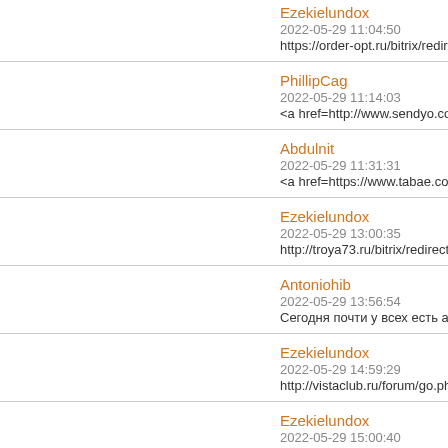Ezekielundox
2022-05-29 11:04:50
https://order-opt.ru/bitrix/redirect.php?eve
PhillipCag
2022-05-29 11:14:03
<a href=http://www.sendyo.co.kr>&#5147
Abdulnit
2022-05-29 11:31:31
<a href=https://www.tabae.co.kr>&#51473
Ezekielundox
2022-05-29 13:00:35
http://troya73.ru/bitrix/redirect.php?event1
Antoniohib
2022-05-29 13:56:54
Сегодня почти у всех есть автомобили.
Ezekielundox
2022-05-29 14:59:29
http://vistaclub.ru/forum/go.php?https://re
Ezekielundox
2022-05-29